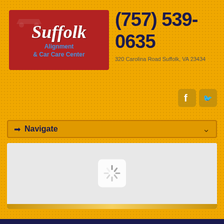[Figure (logo): Suffolk Alignment & Car Care Center logo on red background]
(757) 539-0635
320 Carolina Road  Suffolk, VA 23434
[Figure (other): Facebook and Twitter social media icons]
➡ Navigate
[Figure (screenshot): Loading content area with spinner on grey background]